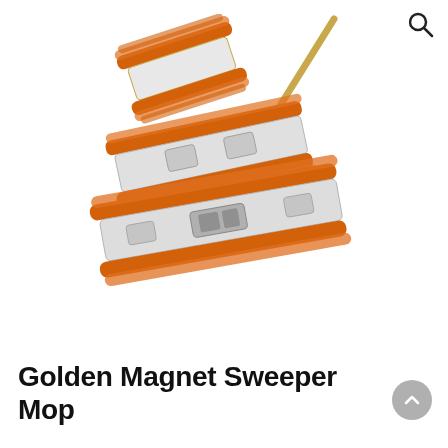[Figure (photo): Golden Magnet Sweeper Mop product photo showing orange fringed dust mop heads and a long wooden handle arranged on a white background]
Golden Magnet Sweeper Mop